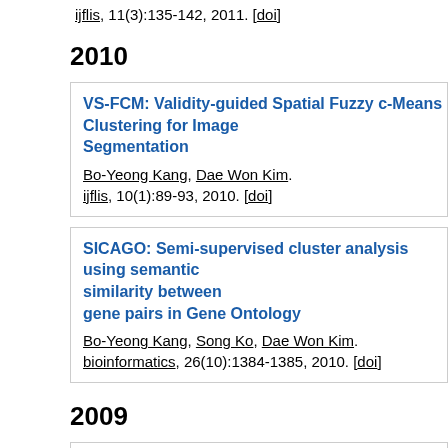ijflis, 11(3):135-142, 2011. [doi]
2010
VS-FCM: Validity-guided Spatial Fuzzy c-Means Clustering for Image Segmentation
Bo-Yeong Kang, Dae Won Kim.
ijflis, 10(1):89-93, 2010. [doi]
SICAGO: Semi-supervised cluster analysis using semantic similarity between gene pairs in Gene Ontology
Bo-Yeong Kang, Song Ko, Dae Won Kim.
bioinformatics, 26(10):1384-1385, 2010. [doi]
2009
Two Phase Chief Complaint Mapping to the UMLS Metathesaurus